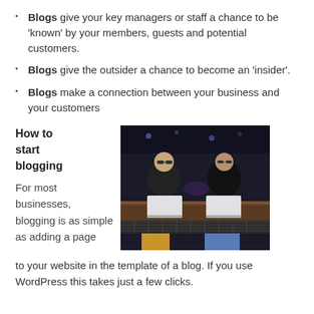Blogs give your key managers or staff a chance to be 'known' by your members, guests and potential customers.
Blogs give the outsider a chance to become an 'insider'.
Blogs make a connection between your business and your customers
How to start blogging
For most businesses, blogging is as simple as adding a page to your website in the template of a blog. If you use WordPress this takes just a few clicks.
[Figure (photo): Two people sitting at a bar counter with laptops open, in a dark ambient setting]